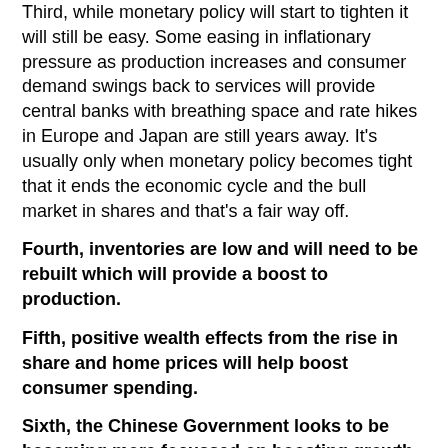Third, while monetary policy will start to tighten it will still be easy. Some easing in inflationary pressure as production increases and consumer demand swings back to services will provide central banks with breathing space and rate hikes in Europe and Japan are still years away. It's usually only when monetary policy becomes tight that it ends the economic cycle and the bull market in shares and that's a fair way off.
Fourth, inventories are low and will need to be rebuilt which will provide a boost to production.
Fifth, positive wealth effects from the rise in share and home prices will help boost consumer spending.
Sixth, the Chinese Government looks to be becoming more focussed on boosting growth, so more policy easing is likely.
Finally, while business surveys are down from